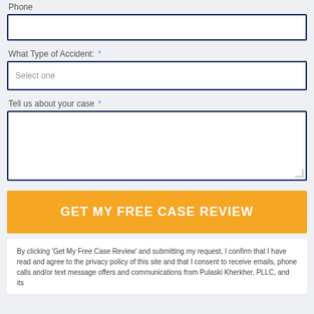Phone
What Type of Accident: *
Select one
Tell us about your case *
GET MY FREE CASE REVIEW
By clicking ‘Get My Free Case Review’ and submitting my request, I confirm that I have read and agree to the privacy policy of this site and that I consent to receive emails, phone calls and/or text message offers and communications from Pulaski Kherkher, PLLC, and its